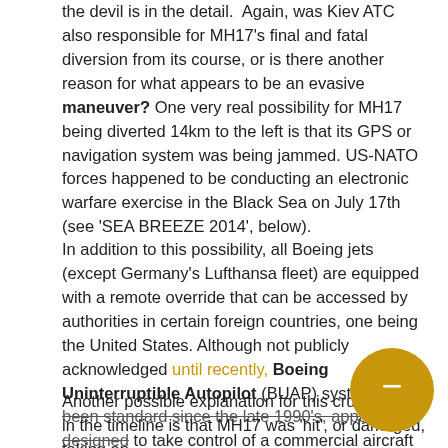the devil is in the detail. Again, was Kiev ATC also responsible for MH17's final and fatal diversion from its course, or is there another reason for what appears to be an evasive maneuver? One very real possibility for MH17 being diverted 14km to the left is that its GPS or navigation system was being jammed. US-NATO forces happened to be conducting an electronic warfare exercise in the Black Sea on July 17th (see 'SEA BREEZE 2014', below).
In addition to this possibility, all Boeing jets (except Germany's Lufthansa fleet) are equipped with a remote override that can be accessed by authorities in certain foreign countries, one being the United States. Although not publicly acknowledged until recently, Boeing Uninterruptible Autopilot (BUAP) systems have been standard since the late 1990's, apparently designed to take control of a commercial aircraft away from the pilot or flight crew, chiefly in the event of a terrorist incident.
Another possible explanation for this crucial event in the timeline is that MH17 was 'hit', or damaged, taking an
[Figure (illustration): Gold/yellow circular chat bubble icon with a minus/dash symbol inside, positioned bottom-right of the page]